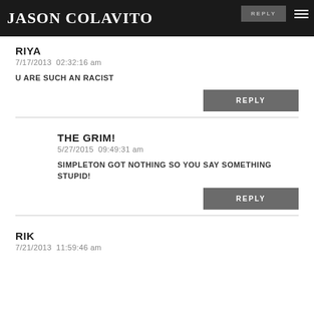JASON COLAVITO
RIYA
7/17/2013  02:32:16 am
U ARE SUCH AN RACIST
REPLY
THE GRIM!
5/27/2015  09:49:31 am
SIMPLETON GOT NOTHING SO YOU SAY SOMETHING STUPID!
REPLY
RIK
7/21/2013  11:59:46 am